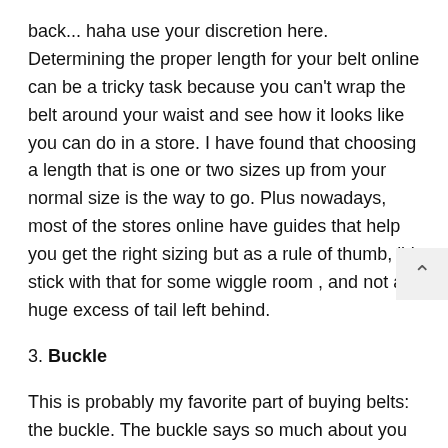back... haha use your discretion here. Determining the proper length for your belt online can be a tricky task because you can't wrap the belt around your waist and see how it looks like you can do in a store. I have found that choosing a length that is one or two sizes up from your normal size is the way to go. Plus nowadays, most of the stores online have guides that help you get the right sizing but as a rule of thumb, i'd stick with that for some wiggle room , and not a huge excess of tail left behind.
3. Buckle
This is probably my favorite part of buying belts: the buckle. The buckle says so much about you without you even knowing it. You can have a shy little buckle or you can have a power buckle that commands respect. Of course you don't want to be one of those guys that shows up to meeting with an american flag sized belt buckle that you bought on a late night infomercial... we've all seen those